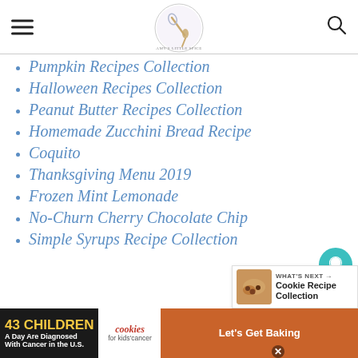Menu | Amy's Little Spice | Search
Pumpkin Recipes Collection
Halloween Recipes Collection
Peanut Butter Recipes Collection
Homemade Zucchini Bread Recipe
Coquito
Thanksgiving Menu 2019
Frozen Mint Lemonade
No-Churn Cherry Chocolate Chip
Simple Syrups Recipe Collection
[Figure (other): Social sidebar with heart/like button showing 192 and share button]
[Figure (other): What's Next widget showing Cookie Recipe Collection thumbnail]
[Figure (other): Advertisement banner: 43 CHILDREN A Day Are Diagnosed With Cancer in the U.S. | cookies for kids' cancer | Let's Get Baking]